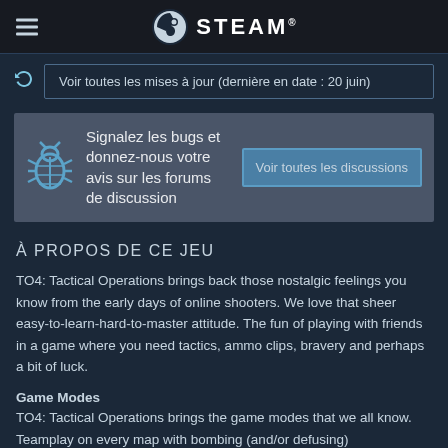STEAM®
Voir toutes les mises à jour (dernière en date : 20 juin)
Signalez les bugs et donnez-nous votre avis sur les forums de discussion | Voir toutes les discussions
À PROPOS DE CE JEU
TO4: Tactical Operations brings back those nostalgic feelings you know from the early days of online shooters. We love that sheer easy-to-learn-hard-to-master attitude. The fun of playing with friends in a game where you need tactics, ammo clips, bravery and perhaps a bit of luck.
Game Modes
TO4: Tactical Operations brings the game modes that we all know. Teamplay on every map with bombing (and/or defusing)